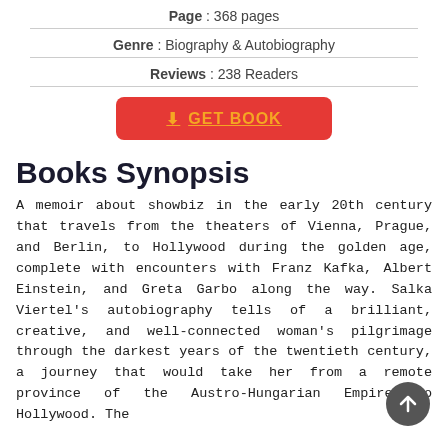Page : 368 pages
Genre : Biography & Autobiography
Reviews : 238 Readers
[Figure (other): Red button with orange text and download icon reading GET BOOK]
Books Synopsis
A memoir about showbiz in the early 20th century that travels from the theaters of Vienna, Prague, and Berlin, to Hollywood during the golden age, complete with encounters with Franz Kafka, Albert Einstein, and Greta Garbo along the way. Salka Viertel's autobiography tells of a brilliant, creative, and well-connected woman's pilgrimage through the darkest years of the twentieth century, a journey that would take her from a remote province of the Austro-Hungarian Empire to Hollywood. The